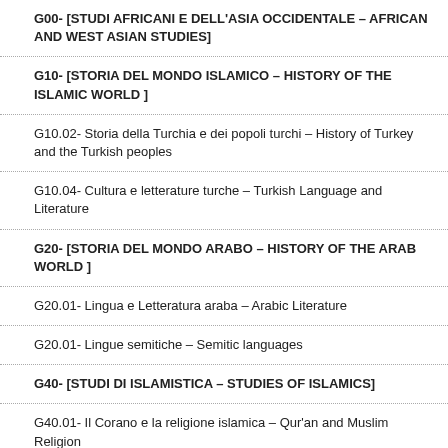G00- [STUDI AFRICANI E DELL'ASIA OCCIDENTALE – AFRICAN AND WEST ASIAN STUDIES]
G10- [STORIA DEL MONDO ISLAMICO – HISTORY OF THE ISLAMIC WORLD ]
G10.02- Storia della Turchia e dei popoli turchi – History of Turkey and the Turkish peoples
G10.04- Cultura e letterature turche – Turkish Language and Literature
G20- [STORIA DEL MONDO ARABO – HISTORY OF THE ARAB WORLD ]
G20.01- Lingua e Letteratura araba – Arabic Literature
G20.01- Lingue semitiche – Semitic languages
G40- [STUDI DI ISLAMISTICA – STUDIES OF ISLAMICS]
G40.01- Il Corano e la religione islamica – Qur'an and Muslim Religion
G40.02- Diritto islamico – Islamic Law